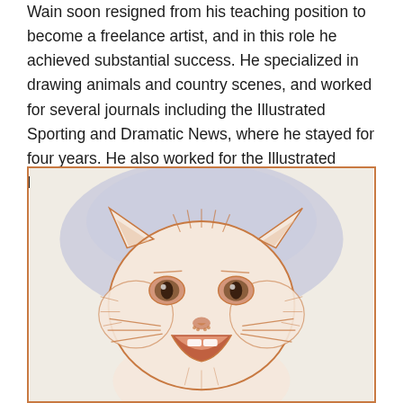Wain soon resigned from his teaching position to become a freelance artist, and in this role he achieved substantial success. He specialized in drawing animals and country scenes, and worked for several journals including the Illustrated Sporting and Dramatic News, where he stayed for four years. He also worked for the Illustrated London News from 1886.
[Figure (illustration): A Louis Wain illustration of a smiling white cat with an orange/brown outline, depicted from the shoulders up. The cat has large expressive eyes, prominent whiskers, and a wide open mouth showing a cheerful expression. The background is a soft lavender-blue watercolor wash. The style is characteristic of Louis Wain's anthropomorphic cat artwork.]